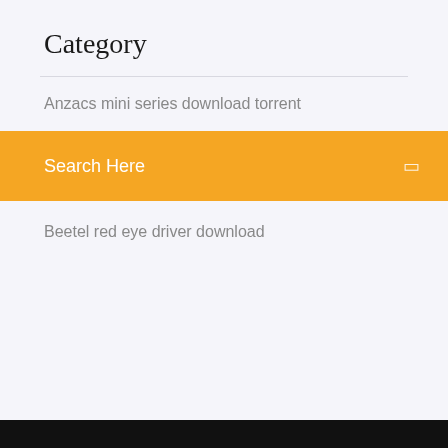Category
Anzacs mini series download torrent
Search Here
Beetel red eye driver download